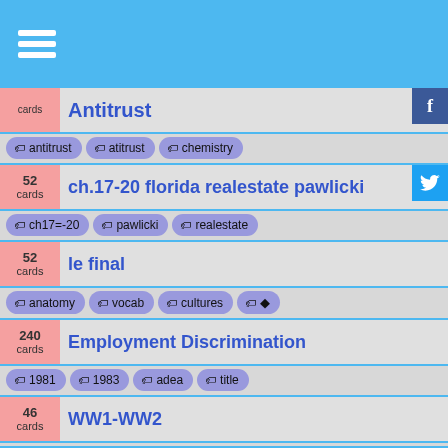[Figure (other): Hamburger menu icon (three white horizontal lines) on blue header bar]
cards Antitrust
Tags: antitrust, atitrust, chemistry
52 cards ch.17-20 florida realestate pawlicki
Tags: ch17=-20, pawlicki, realestate
52 cards le final
Tags: anatomy, vocab, cultures
240 cards Employment Discrimination
Tags: 1981, 1983, adea, title
46 cards WW1-WW2
Tags: wars, months, arabic, rel
55 cards NC Real Estate Broker Pre-licensing Exa
Tags: broker, estate, nc_real, n
202 cards Con Law Epperson 10
Tags: epperson, psychology, religion